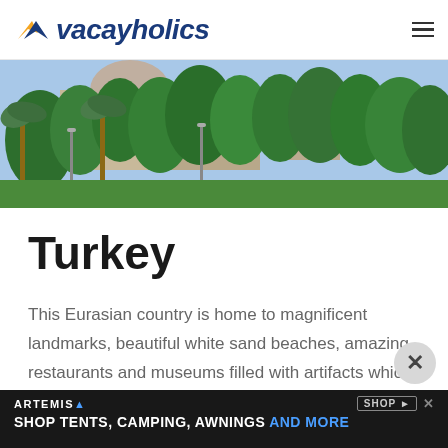Vacayholics
[Figure (photo): Outdoor scene with palm trees and lush green trees in front of historic stone buildings under a blue sky]
Turkey
This Eurasian country is home to magnificent landmarks, beautiful white sand beaches, amazing restaurants and museums filled with artifacts which display the richness of Turkey's history. Must-see sites include the Fairy Chimneys in Cappadocia, Ararat, bordered by 8 countries, Dead Sea Beach,
[Figure (screenshot): Advertisement banner: ARTEMIS SHOP TENTS, CAMPING, AWNINGS AND MORE]